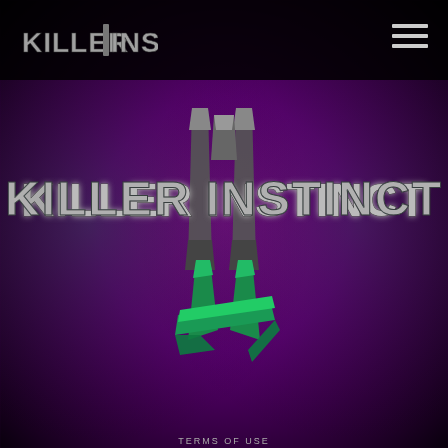Killer Instinct (logo) + hamburger menu
[Figure (illustration): Killer Instinct game logo on a dark purple smoky background with green and silver metallic lettering and a large stylized KI emblem]
TERMS OF USE